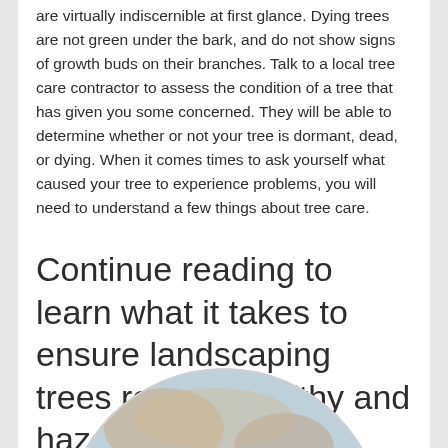are virtually indiscernible at first glance. Dying trees are not green under the bark, and do not show signs of growth buds on their branches. Talk to a local tree care contractor to assess the condition of a tree that has given you some concerned. They will be able to determine whether or not your tree is dormant, dead, or dying. When it comes times to ask yourself what caused your tree to experience problems, you will need to understand a few things about tree care.
Continue reading to learn what it takes to ensure landscaping trees remain healthy and hazard-free assets to your property.
[Figure (photo): A circular cropped photo showing tree bark or moss texture with orange and blue tones, partially visible at the bottom of the page.]